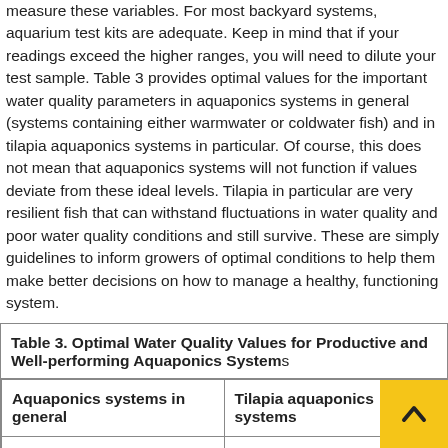measure these variables. For most backyard systems, aquarium test kits are adequate. Keep in mind that if your readings exceed the higher ranges, you will need to dilute your test sample. Table 3 provides optimal values for the important water quality parameters in aquaponics systems in general (systems containing either warmwater or coldwater fish) and in tilapia aquaponics systems in particular. Of course, this does not mean that aquaponics systems will not function if values deviate from these ideal levels. Tilapia in particular are very resilient fish that can withstand fluctuations in water quality and poor water quality conditions and still survive. These are simply guidelines to inform growers of optimal conditions to help them make better decisions on how to manage a healthy, functioning system.
| Aquaponics systems in general | Tilapia aquaponics systems |
| --- | --- |
| Temperature: 65–85°F | Temperature: 81–84°F |
| pH: 6–7 | pH: 7 |